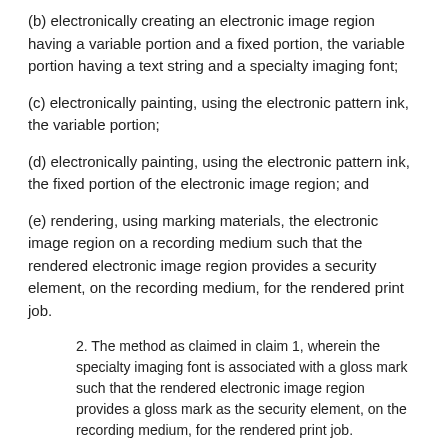(b) electronically creating an electronic image region having a variable portion and a fixed portion, the variable portion having a text string and a specialty imaging font;
(c) electronically painting, using the electronic pattern ink, the variable portion;
(d) electronically painting, using the electronic pattern ink, the fixed portion of the electronic image region; and
(e) rendering, using marking materials, the electronic image region on a recording medium such that the rendered electronic image region provides a security element, on the recording medium, for the rendered print job.
2. The method as claimed in claim 1, wherein the specialty imaging font is associated with a gloss mark such that the rendered electronic image region provides a gloss mark as the security element, on the recording medium, for the rendered print job.
3. The method as claimed in claim 1, wherein the specialty imaging font is associated with a correlation mark such that the rendered electronic image region provides a